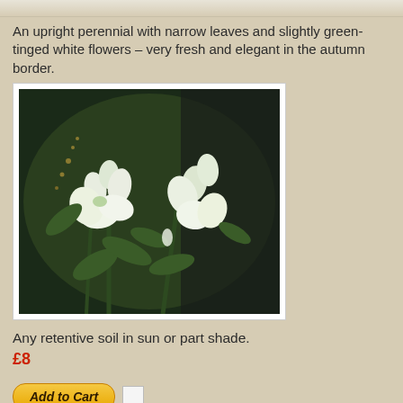[Figure (photo): Top strip of page showing partial product image background]
An upright perennial with narrow leaves and slightly green-tinged white flowers – very fresh and elegant in the autumn border.
[Figure (photo): Photograph of white green-tinged flowers (aconitum or similar perennial) against a dark background with green foliage]
Any retentive soil in sun or part shade.
£8
[Figure (other): Add to Cart button with quantity input box]
Steve Law    No comments: